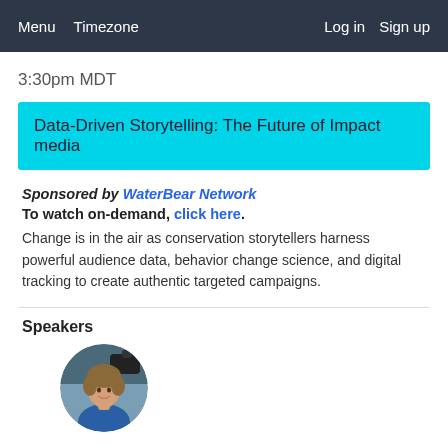Menu  Timezone  Log in  Sign up
3:30pm MDT
Data-Driven Storytelling: The Future of Impact media
Sponsored by WaterBear Network
To watch on-demand, click here.
Change is in the air as conservation storytellers harness powerful audience data, behavior change science, and digital tracking to create authentic targeted campaigns.
Speakers
[Figure (photo): Circular portrait photo of a speaker, a young man with medium-length hair, wearing a blue jacket, with camera equipment visible in the background]